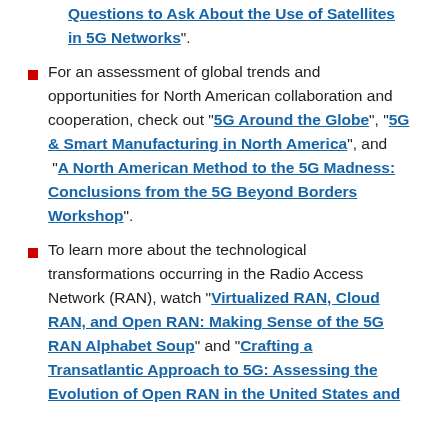Questions to Ask About the Use of Satellites in 5G Networks".
For an assessment of global trends and opportunities for North American collaboration and cooperation, check out “5G Around the Globe”, “5G & Smart Manufacturing in North America”, and “A North American Method to the 5G Madness: Conclusions from the 5G Beyond Borders Workshop”.
To learn more about the technological transformations occurring in the Radio Access Network (RAN), watch “Virtualized RAN, Cloud RAN, and Open RAN: Making Sense of the 5G RAN Alphabet Soup” and “Crafting a Transatlantic Approach to 5G: Assessing the Evolution of Open RAN in the United States and